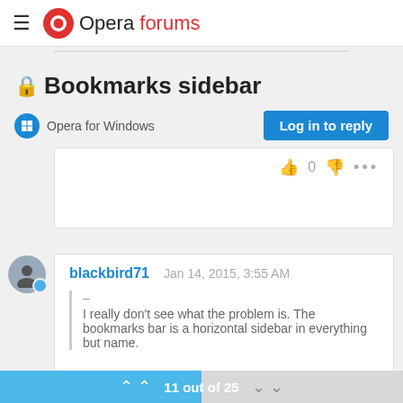Opera forums
🔒 Bookmarks sidebar
Opera for Windows
Log in to reply
blackbird71   Jan 14, 2015, 3:55 AM
– I really don't see what the problem is. The bookmarks bar is a horizontal sidebar in everything but name.
11 out of 25